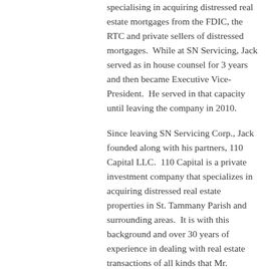specialising in acquiring distressed real estate mortgages from the FDIC, the RTC and private sellers of distressed mortgages.  While at SN Servicing, Jack served as in house counsel for 3 years and then became Executive Vice-President.  He served in that capacity until leaving the company in 2010.
Since leaving SN Servicing Corp., Jack founded along with his partners, 110 Capital LLC.  110 Capital is a private investment company that specializes in acquiring distressed real estate properties in St. Tammany Parish and surrounding areas.  It is with this background and over 30 years of experience in dealing with real estate transactions of all kinds that Mr. Mendheim decided to open 110 Title LLC.  The goal of 110 Title LLC is to be not be the biggest, but to be the best and most professional title service provider in St. Tammany Parish.